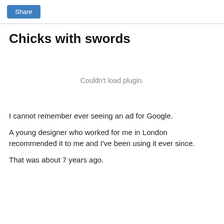Share
Chicks with swords
[Figure (other): Plugin area showing 'Couldn't load plugin.' message]
I cannot remember ever seeing an ad for Google.
A young designer who worked for me in London recommended it to me and I've been using it ever since.
That was about 7 years ago.